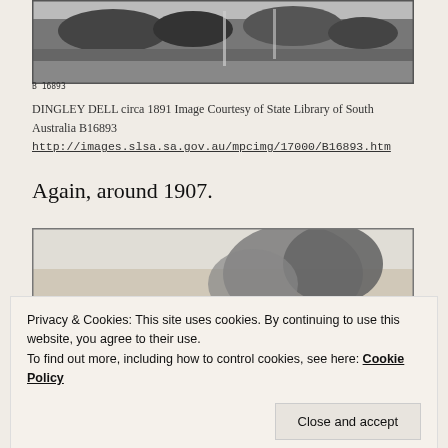[Figure (photo): Black and white historical photograph of Dingley Dell circa 1891, showing a landscape scene with trees and structures. Label 'B 16893' visible at bottom left.]
DINGLEY DELL circa 1891 Image Courtesy of State Library of South Australia B16893 http://images.slsa.sa.gov.au/mpcimg/17000/B16893.htm
Again, around 1907.
[Figure (photo): Black and white historical photograph of Dingley Dell around 1907, showing trees and landscape, partially obscured by the cookie consent banner.]
Privacy & Cookies: This site uses cookies. By continuing to use this website, you agree to their use.
To find out more, including how to control cookies, see here: Cookie Policy